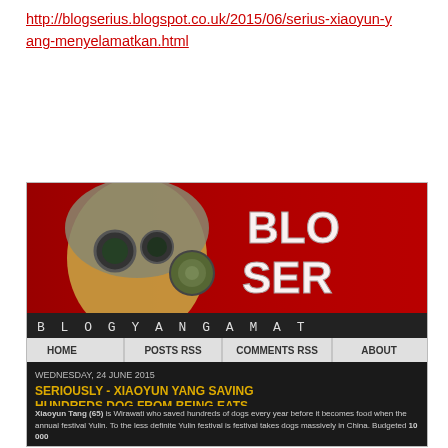http://blogserius.blogspot.co.uk/2015/06/serius-xiaoyun-yang-menyelamatkan.html
[Figure (screenshot): Screenshot of blogserius.blogspot.co.uk showing a robot/cyborg head with goggles on a red background with text 'BLO SER' and 'BLOG YANG AMA'. Navigation bar with HOME, POSTS RSS, COMMENTS RSS, ABOUT. Blog post dated WEDNESDAY, 24 JUNE 2015 titled 'SERIOUSLY - XIAOYUN YANG SAVING HUNDREDS DOG FROM BEING EATS FESTIVAL YULIN (12 GAMBART)' with Hero tag and beginning of article text about Xiaoyun Tang (65) a Wirawati who saved hundreds of dogs.]